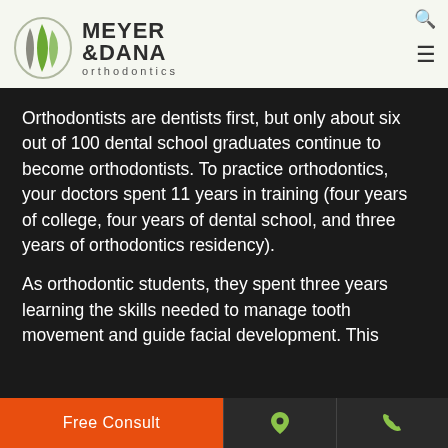[Figure (logo): Meyer & Dana Orthodontics logo with stylized M/leaf icon in green and gray]
Orthodontists are dentists first, but only about six out of 100 dental school graduates continue to become orthodontists. To practice orthodontics, your doctors spent 11 years in training (four years of college, four years of dental school, and three years of orthodontics residency).
As orthodontic students, they spent three years learning the skills needed to manage tooth movement and guide facial development. This
Free Consult